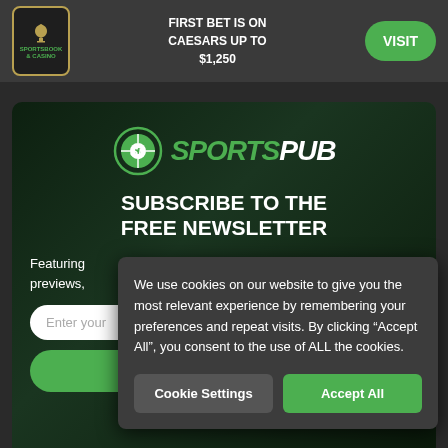[Figure (logo): Sportsbook & Casino logo with trophy icon and text]
FIRST BET IS ON CAESARS UP TO $1,250
VISIT
[Figure (logo): SportsPub logo with coin/disc icon]
SUBSCRIBE TO THE FREE NEWSLETTER
Featuring previews,
Enter your
We use cookies on our website to give you the most relevant experience by remembering your preferences and repeat visits. By clicking “Accept All”, you consent to the use of ALL the cookies.
Cookie Settings
Accept All